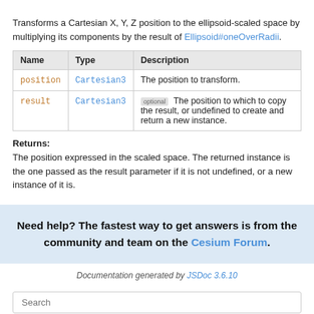Transforms a Cartesian X, Y, Z position to the ellipsoid-scaled space by multiplying its components by the result of Ellipsoid#oneOverRadii.
| Name | Type | Description |
| --- | --- | --- |
| position | Cartesian3 | The position to transform. |
| result | Cartesian3 | [optional] The position to which to copy the result, or undefined to create and return a new instance. |
Returns:
The position expressed in the scaled space. The returned instance is the one passed as the result parameter if it is not undefined, or a new instance of it is.
Need help? The fastest way to get answers is from the community and team on the Cesium Forum.
Documentation generated by JSDoc 3.6.10
Search
AngleUnits